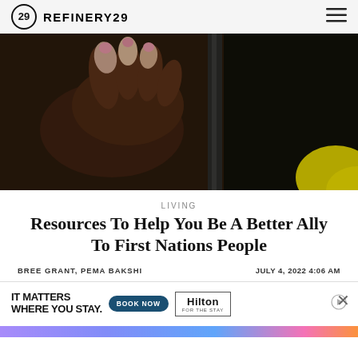REFINERY29
[Figure (photo): Close-up photograph of two hands clasped together, one with dark skin and one with lighter skin tones, against a dark background with a yellow accent visible in the bottom right corner.]
LIVING
Resources To Help You Be A Better Ally To First Nations People
BREE GRANT, PEMA BAKSHI    JULY 4, 2022 4:06 AM
[Figure (infographic): Hilton advertisement banner reading IT MATTERS WHERE YOU STAY. with a BOOK NOW button and Hilton FOR THE STAY logo.]
[Figure (infographic): Colorful gradient bar at the bottom of the page in purple, blue, pink, and orange.]